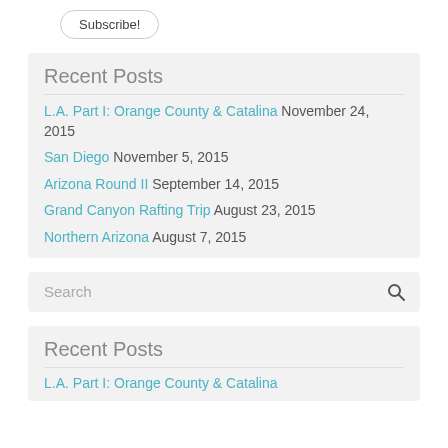Subscribe!
Recent Posts
L.A. Part I: Orange County & Catalina November 24, 2015
San Diego November 5, 2015
Arizona Round II September 14, 2015
Grand Canyon Rafting Trip August 23, 2015
Northern Arizona August 7, 2015
Search
Recent Posts
L.A. Part I: Orange County & Catalina